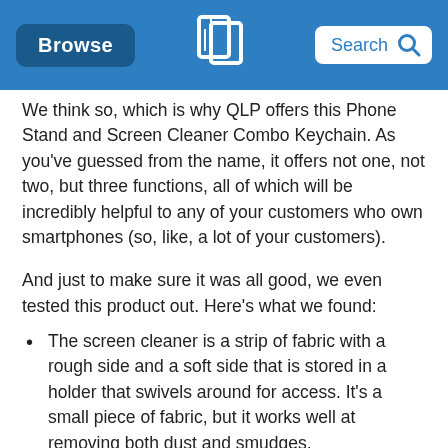Browse | QLP logo | Search
We think so, which is why QLP offers this Phone Stand and Screen Cleaner Combo Keychain. As you've guessed from the name, it offers not one, not two, but three functions, all of which will be incredibly helpful to any of your customers who own smartphones (so, like, a lot of your customers).
And just to make sure it was all good, we even tested this product out. Here's what we found:
The screen cleaner is a strip of fabric with a rough side and a soft side that is stored in a holder that swivels around for access. It's a small piece of fabric, but it works well at removing both dust and smudges.
The phone stand slides out of the top. Although